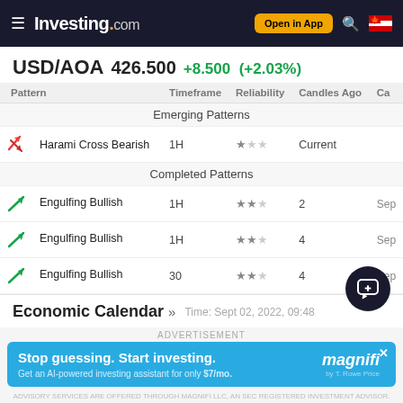Investing.com — Open in App
USD/AOA 426.500 +8.500 (+2.03%)
| Pattern | Timeframe | Reliability | Candles Ago | Ca |
| --- | --- | --- | --- | --- |
| Emerging Patterns |  |  |  |  |
| Harami Cross Bearish | 1H | ★☆☆ | Current |  |
| Completed Patterns |  |  |  |  |
| Engulfing Bullish | 1H | ★★☆ | 2 | Sep |
| Engulfing Bullish | 1H | ★★☆ | 4 | Sep |
| Engulfing Bullish | 30 | ★★☆ | 4 | Sep |
Economic Calendar »
Time: Sept 02, 2022, 09:48
[Figure (screenshot): Advertisement banner: Stop guessing. Start investing. — Magnifi. Get an AI-powered investing assistant for only $7/mo.]